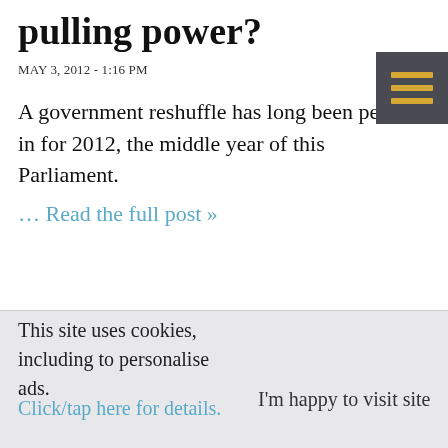pulling power?
MAY 3, 2012 - 1:16 PM
A government reshuffle has long been penned in for 2012, the middle year of this Parliament.
… Read the full post »
This site uses cookies, including to personalise ads. Click/tap here for details.
I'm happy to visit site